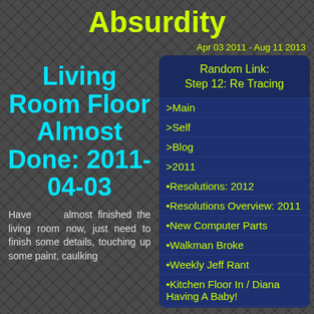Absurdity
Apr 03 2011 - Aug 11 2013
Living Room Floor Almost Done: 2011-04-03
Have almost finished the living room now, just need to finish some details, touching up some paint, caulking
Random Link: Step 12: Re Tracing
>Main
>Self
>Blog
>2011
•Resolutions: 2012
•Resolutions Overview: 2011
•New Computer Parts
•Walkman Broke
•Weekly Jeff Rant
•Kitchen Floor In / Diana Having A Baby!
•Friday
•Daily Jeff Rant
•Miss Calvin